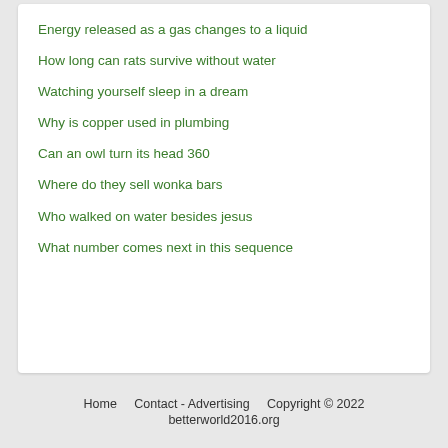Energy released as a gas changes to a liquid
How long can rats survive without water
Watching yourself sleep in a dream
Why is copper used in plumbing
Can an owl turn its head 360
Where do they sell wonka bars
Who walked on water besides jesus
What number comes next in this sequence
Home    Contact - Advertising    Copyright © 2022 betterworld2016.org